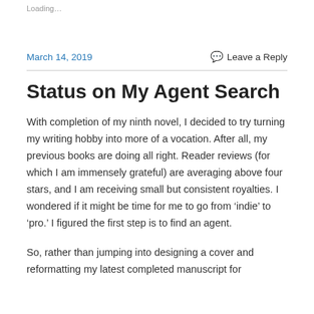Loading…
March 14, 2019
Leave a Reply
Status on My Agent Search
With completion of my ninth novel, I decided to try turning my writing hobby into more of a vocation. After all, my previous books are doing all right. Reader reviews (for which I am immensely grateful) are averaging above four stars, and I am receiving small but consistent royalties. I wondered if it might be time for me to go from 'indie' to 'pro.' I figured the first step is to find an agent.
So, rather than jumping into designing a cover and reformatting my latest completed manuscript for